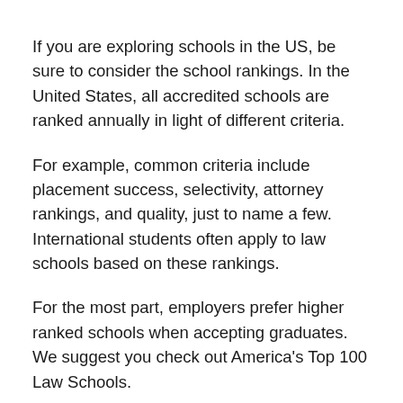If you are exploring schools in the US, be sure to consider the school rankings. In the United States, all accredited schools are ranked annually in light of different criteria.
For example, common criteria include placement success, selectivity, attorney rankings, and quality, just to name a few. International students often apply to law schools based on these rankings.
For the most part, employers prefer higher ranked schools when accepting graduates. We suggest you check out America's Top 100 Law Schools.
Ideally, you may want to learn more about schools that you find interesting based on courses, teaching style, location, and extracurricular activities. The school must